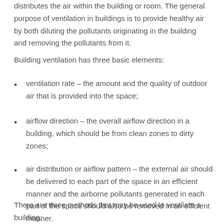distributes the air within the building or room. The general purpose of ventilation in buildings is to provide healthy air by both diluting the pollutants originating in the building and removing the pollutants from it.
Building ventilation has three basic elements:
ventilation rate – the amount and the quality of outdoor air that is provided into the space;
airflow direction – the overall airflow direction in a building, which should be from clean zones to dirty zones;
air distribution or airflow pattern – the external air should be delivered to each part of the space in an efficient manner and the airborne pollutants generated in each part of the space should also be removed in an efficient manner.
There are three methods that may be used to ventilate a building: